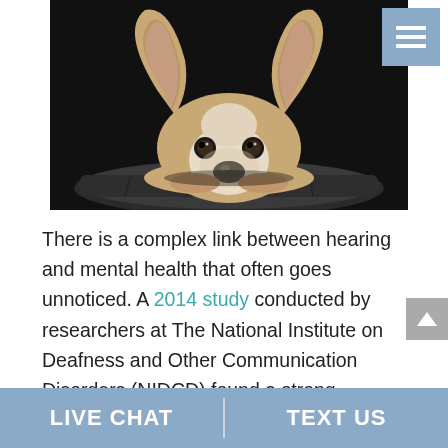[Figure (photo): A Corgi puppy resting its chin on a dark leather cushion/pillow, looking at the camera with large ears up, against a dark background. A hamburger menu icon button appears in top-right corner.]
There is a complex link between hearing and mental health that often goes unnoticed. A 2014 study conducted by researchers at The National Institute on Deafness and Other Communication Disorders (NIDCD) found a strong correlation between hearing loss and depression with both conditions
LIVE CHAT | TEXT US